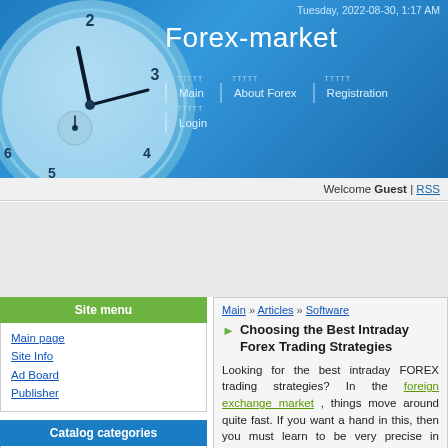Tuesday, 2022-08-30, 1:17 AM
Forex-market
Main | About Forex | Registration | Login
Welcome Guest | RSS
Site menu
Main page
Site Info
Ad Board
Publisher
Catalog categories
Brokers [2]
Software [14]
Main » Articles » Software
Choosing the Best Intraday Forex Trading Strategies
Looking for the best intraday FOREX trading strategies? In the foreign exchange market , things move around quite fast. If you want a hand in this, then you must learn to be very precise in choosing your trades. This is a trillion dollar industry that works around the clock, so there is quite an amount of opportunity for the right investor. If you are